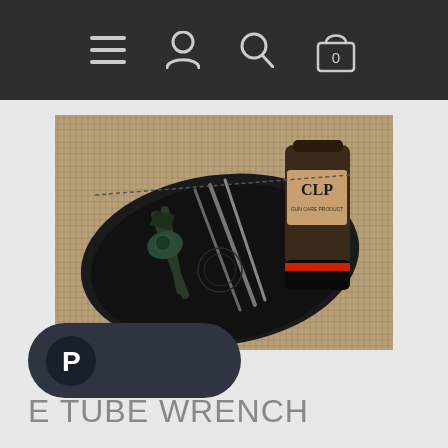Navigation bar with menu, account, search, and cart icons
[Figure (photo): A black leather tool tray/case open on a woven surface, containing pliers/multi-tool, screwdrivers, and other tools. A bottle labeled CLP (cleaner lubricant protectant) sits to the right.]
[Figure (logo): PayPal logo badge - dark rounded pill shape with white PayPal P logo]
E TUBE WRENCH